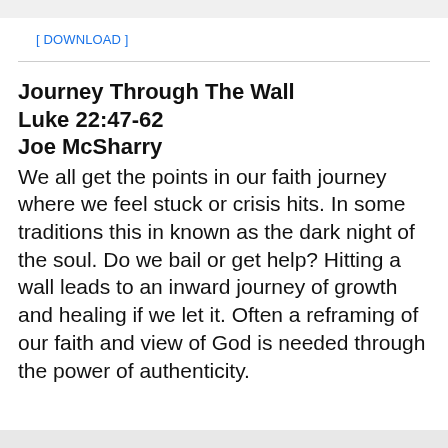[ DOWNLOAD ]
Journey Through The Wall
Luke 22:47-62
Joe McSharry
We all get the points in our faith journey where we feel stuck or crisis hits. In some traditions this in known as the dark night of the soul. Do we bail or get help? Hitting a wall leads to an inward journey of growth and healing if we let it. Often a reframing of our faith and view of God is needed through the power of authenticity.